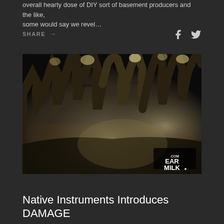overall hearty dose of DIY sort of basement producers and the like, some would say we revel…
SHARE →
[Figure (photo): Black and white photo of a crowd at a concert with many hands and arms raised in the air. An EarMilk.com watermark is visible in the lower right corner.]
Native Instruments Introduces DAMAGE